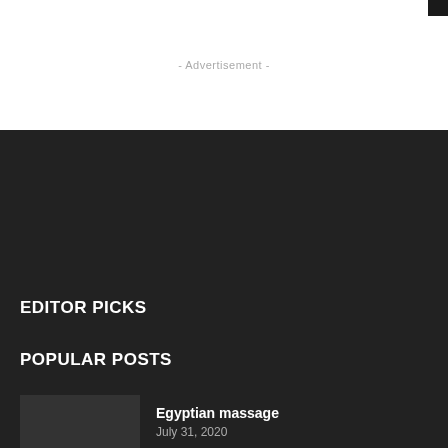- Advertisement -
EDITOR PICKS
POPULAR POSTS
Egyptian massage
July 31, 2020
Apple's AirTag relies on a feature no